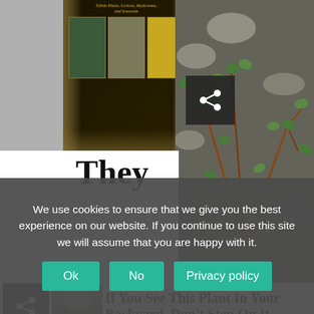[Figure (photo): Book cover for 'Edible Plants, Lichens, Mushrooms, and Seaweeds' with dark background and gold decorative border, showing small photos of edible plants]
[Figure (photo): Large photo of purslane or similar low-growing succulent plant with small round leaves spreading across dark gravel/asphalt ground]
They
[Figure (photo): Small thumbnail image of a rocky/watery surface, partially visible]
If You See This Plant In Your Backyard, Don't Step On It
We use cookies to ensure that we give you the best experience on our website. If you continue to use this site we will assume that you are happy with it.
Ok
No
Privacy policy